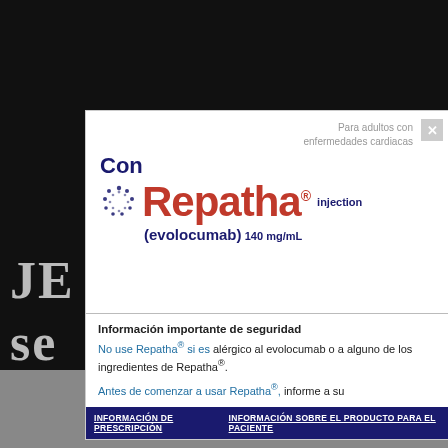[Figure (screenshot): Advertisement overlay for Repatha (evolocumab) injection 140mg/mL displayed on top of a dark video background. Shows 'Con' text in dark blue, Repatha logo in red with circular icon, evolocumab 140mg/mL subtitle, and safety information section at bottom.]
Para adultos con enfermedades cardiacas
Con
Repatha® injection 140 mg/mL (evolocumab)
Información importante de seguridad
No use Repatha® si es alérgico al evolocumab o a alguno de los ingredientes de Repatha®.
Antes de comenzar a usar Repatha®, informe a su
INFORMACIÓN DE PRESCRIPCIÓN   INFORMACIÓN SOBRE EL PRODUCTO PARA EL PACIENTE